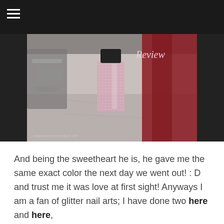[Figure (photo): A bottle of glitter nail polish (pink/rose glitter) sitting on a marble surface, with a red fabric in the background and silver fixtures to the left. The word 'Review' is written in cursive script in the upper right of the image. Watermark reads www.moonshinesunlight.com at the bottom left.]
And being the sweetheart he is, he gave me the same exact color the next day we went out! : D and trust me it was love at first sight! Anyways I am a fan of glitter nail arts; I have done two here and here,